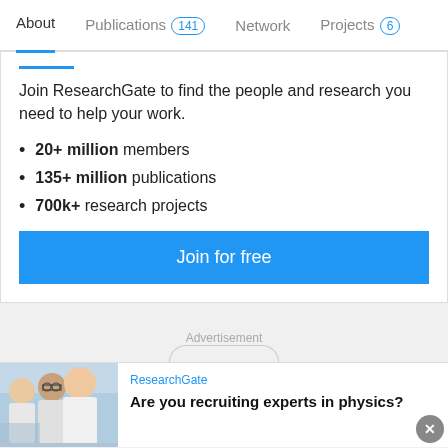About   Publications 141   Network   Projects 6
Join ResearchGate to find the people and research you need to help your work.
20+ million members
135+ million publications
700k+ research projects
Join for free
Advertisement
ResearchGate
Are you recruiting experts in physics?